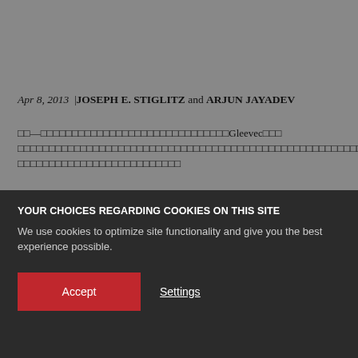Apr 8, 2013 | JOSEPH E. STIGLITZ and ARJUN JAYADEV
□□—□□□□□□□□□□□□□□□□□□□□□□□□□□□□□Gleevec□□□ □□□□□□□□□□□□□□□□□□□□□□□□□□□□□□□□□□□□□□□□□□□□□□□□□□□□□□□□□□□□□□□□□□□□□□□□□□□□□□□□□□□□□
□□□□□□□□□□□□□□□□□□□□□□□□□□□□□□□□□□□□□□□□□□□□□□□□□□□□□□□□□□□□□□□□□□□□□□□□□□□□□□□□□□□□□
YOUR CHOICES REGARDING COOKIES ON THIS SITE
We use cookies to optimize site functionality and give you the best experience possible.